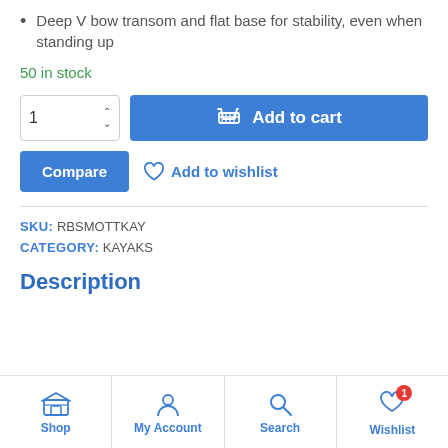Deep V bow transom and flat base for stability, even when standing up
50 in stock
SKU: RBSMOTTKAY
CATEGORY: KAYAKS
Description
Shop | My Account | Search | Wishlist